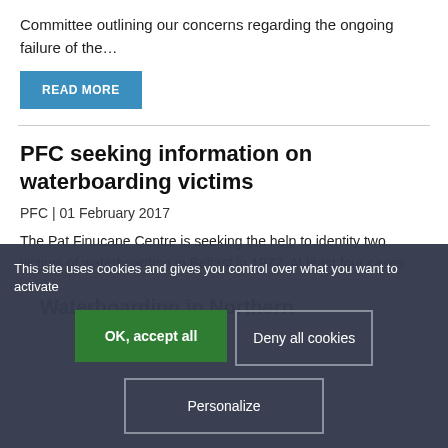Committee outlining our concerns regarding the ongoing failure of the…
READ MORE
PFC seeking information on waterboarding victims
PFC | 01 February 2017
The Pat Finucane Centre is seeking the help to identity two victims of waterboarding in Belfast in 1972. At least four cases
This site uses cookies and gives you control over what you want to activate
OK, accept all
Deny all cookies
Personalize
Waterboarding in Northern